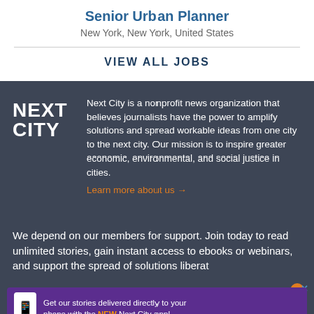Senior Urban Planner
New York, New York, United States
VIEW ALL JOBS
[Figure (logo): Next City logo in white bold text on dark background]
Next City is a nonprofit news organization that believes journalists have the power to amplify solutions and spread workable ideas from one city to the next city. Our mission is to inspire greater economic, environmental, and social justice in cities. Learn more about us →
We depend on our members for support. Join today to read unlimited stories, gain instant access to ebooks or webinars, and support the spread of solutions libera...
[Figure (screenshot): Advertisement banner: Get our stories delivered directly to your phone with the NEW Next City app!]